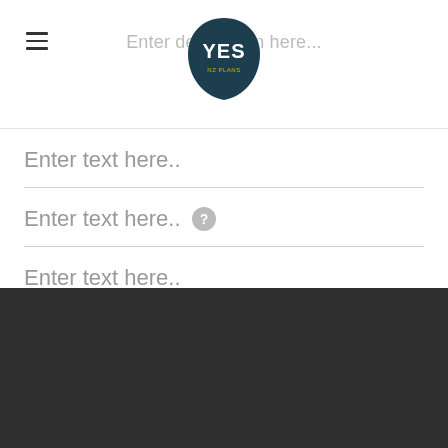[Figure (logo): YES logo — dark teal blob/shield shape with 'YES' text in white and yellow subtitle text]
Enter destination here...
Enter text here..
Enter text here..
Enter text here..
CLICK ME!